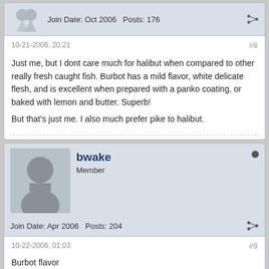Join Date: Oct 2006   Posts: 176
10-21-2006, 20:21
#8
Just me, but I dont care much for halibut when compared to other really fresh caught fish. Burbot has a mild flavor, white delicate flesh, and is excellent when prepared with a panko coating, or baked with lemon and butter. Superb!

But that's just me. I also much prefer pike to halibut.
bwake
Member
Join Date: Apr 2006   Posts: 204
10-22-2006, 01:03
#9
Burbot flavor
Simply put, you won't get a better tasting white meat fish than burbot. The downside is that the smaller ones have a small amount of meat relatively speaking; the body mass physiologically is similar to a catfish. And as bottom feeders they do tend to be slimy/mucky